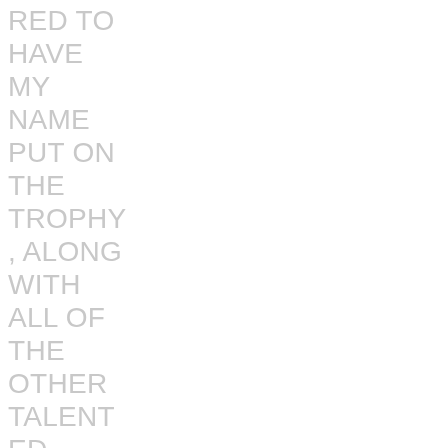RED TO HAVE MY NAME PUT ON THE TROPHY , ALONG WITH ALL OF THE OTHER TALENTED PERFORMERS WHO WON IT BEFORE ME, INCLUDING MY INSTRUCTOR, BILL VAN